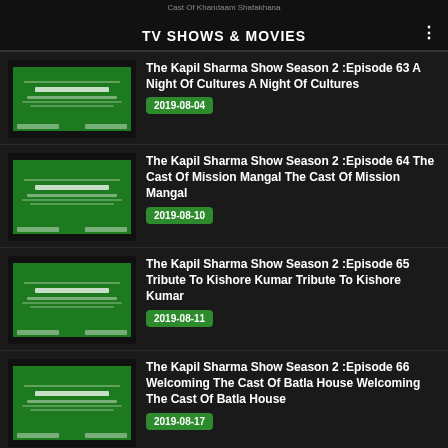TV SHOWS & MOVIES
The Kapil Sharma Show Season 2 :Episode 63 A Night Of Cultures A Night Of Cultures | 2019-08-04
The Kapil Sharma Show Season 2 :Episode 64 The Cast Of Mission Mangal The Cast Of Mission Mangal | 2019-08-10
The Kapil Sharma Show Season 2 :Episode 65 Tribute To Kishore Kumar Tribute To Kishore Kumar | 2019-08-11
The Kapil Sharma Show Season 2 :Episode 66 Welcoming The Cast Of Batla House Welcoming The Cast Of Batla House | 2019-08-17